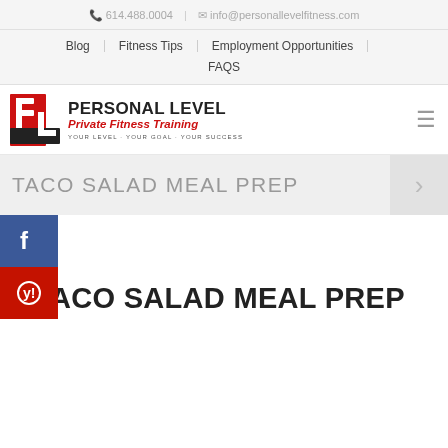📞 614.488.0004 | ✉ info@personallevelfitness.com
Blog | Fitness Tips | Employment Opportunities | FAQS
[Figure (logo): Personal Level Private Fitness Training logo with red PL icon and tagline YOUR LEVEL · YOUR GOAL · YOUR SUCCESS]
TACO SALAD MEAL PREP
TACO SALAD MEAL PREP